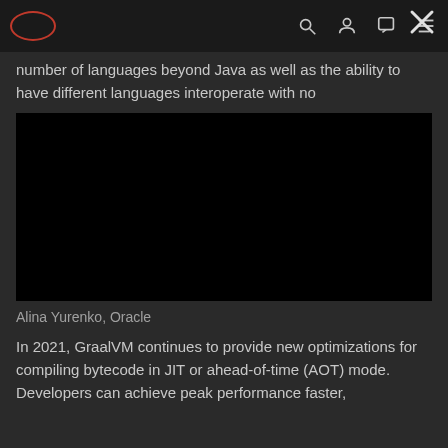Oracle [logo]
number of languages beyond Java as well as the ability to have different languages interoperate with no
[Figure (screenshot): Black video player or embedded video area, fully black/dark content]
Alina Yurenko, Oracle
In 2021, GraalVM continues to provide new optimizations for compiling bytecode in JIT or ahead-of-time (AOT) mode. Developers can achieve peak performance faster,